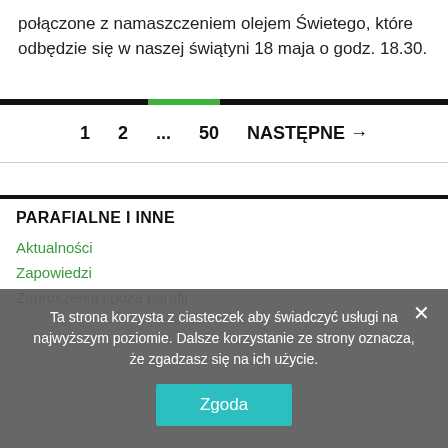połączone z namaszczeniem olejem Świetego, które odbędzie się w naszej świątyni 18 maja o godz. 18.30.
[Figure (other): Pagination bar with thick black horizontal line and a green segment, with page numbers 1, 2, ..., 50 and NASTĘPNE → button]
PARAFIALNE I INNE
Aktualności
Zapowiedzi
Zaproszenia spoza parafii
Ta strona korzysta z ciasteczek aby świadczyć usługi na najwyższym poziomie. Dalsze korzystanie ze strony oznacza, że zgadzasz się na ich użycie. Zgoda